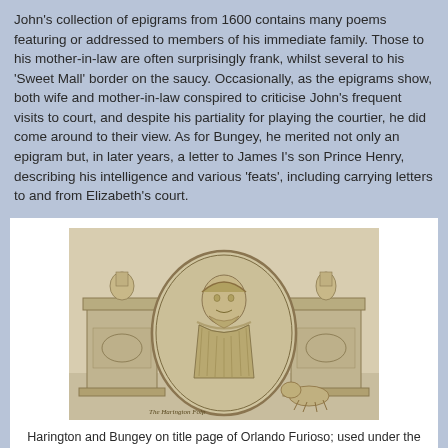John's collection of epigrams from 1600 contains many poems featuring or addressed to members of his immediate family. Those to his mother-in-law are often surprisingly frank, whilst several to his 'Sweet Mall' border on the saucy. Occasionally, as the epigrams show, both wife and mother-in-law conspired to criticise John's frequent visits to court, and despite his partiality for playing the courtier, he did come around to their view. As for Bungey, he merited not only an epigram but, in later years, a letter to James I's son Prince Henry, describing his intelligence and various 'feats', including carrying letters to and from Elizabeth's court.
[Figure (illustration): An engraving showing Harington and Bungey on the title page of Orlando Furioso. A man in Elizabethan dress with a ruff collar is depicted in an oval medallion in the center, flanked by two pedestals with figurines. A dog is visible at the lower right. The style is a detailed historical engraving.]
Harington and Bungey on title page of Orlando Furioso; used under the NPG's CC licence